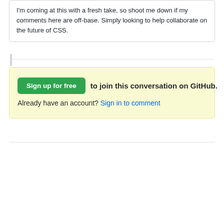I'm coming at this with a fresh take, so shoot me down if my comments here are off-base. Simply looking to help collaborate on the future of CSS.
Sign up for free to join this conversation on GitHub. Already have an account? Sign in to comment
Terms · Privacy · Security · Status · Docs · Contact GitHub · Pricing · API · Training · Blog · About · © 2022 GitHub, Inc.